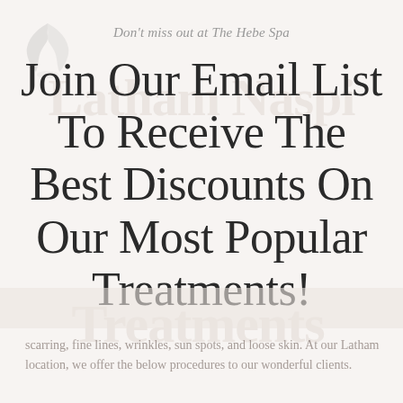Don't miss out at The Hebe Spa
[Figure (logo): The Hebe Spa logo with wing/bird emblem, faded watermark style in top-left corner]
Join Our Email List To Receive The Best Discounts On Our Most Popular Treatments!
scarring, fine lines, wrinkles, sun spots, and loose skin. At our Latham location, we offer the below procedures to our wonderful clients.